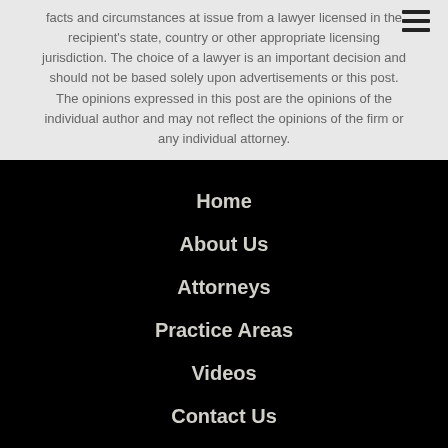facts and circumstances at issue from a lawyer licensed in the recipient's state, country or other appropriate licensing jurisdiction. The choice of a lawyer is an important decision and should not be based solely upon advertisements or this post. The opinions expressed in this post are the opinions of the individual author and may not reflect the opinions of the firm or any individual attorney.
Home
About Us
Attorneys
Practice Areas
Videos
Contact Us